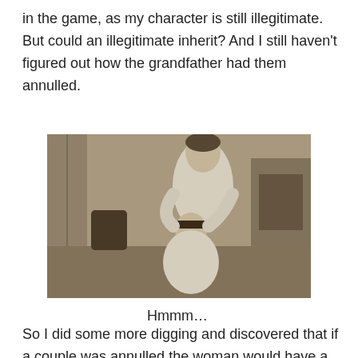in the game, as my character is still illegitimate. But could an illegitimate inherit? And I still haven't figured out how the grandfather had them annulled.
[Figure (photo): Black and white photograph of a man standing behind a seated woman, both in white clothing, in an indoor setting.]
Hmmm…
So I did some more digging and discovered that if a couple was annulled the woman would have a ruined reputation and: